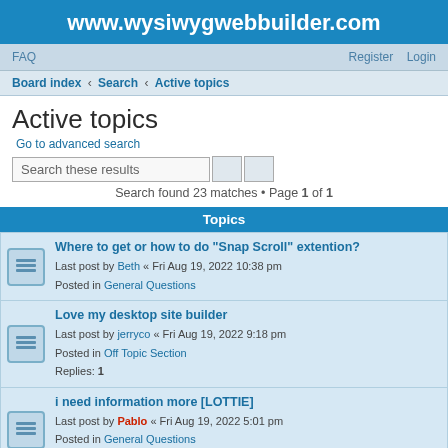www.wysiwygwebbuilder.com
FAQ    Register    Login
Board index › Search › Active topics
Active topics
Go to advanced search
Search these results
Search found 23 matches • Page 1 of 1
Topics
Where to get or how to do "Snap Scroll" extention?
Last post by Beth « Fri Aug 19, 2022 10:38 pm
Posted in General Questions
Love my desktop site builder
Last post by jerryco « Fri Aug 19, 2022 9:18 pm
Posted in Off Topic Section
Replies: 1
i need information more [LOTTIE]
Last post by Pablo « Fri Aug 19, 2022 5:01 pm
Posted in General Questions
Replies: 1
THANK YOU
Last post by Bluesman « Fri Aug 19, 2022 11:33 am